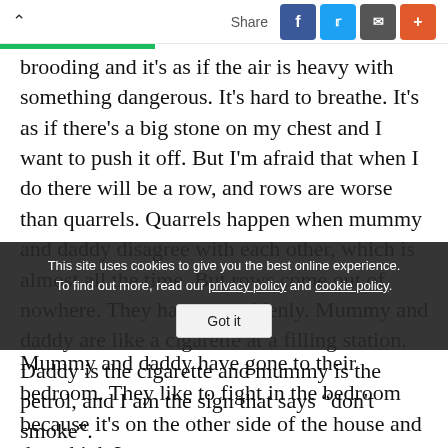^ Share [Facebook] [Twitter] [Bookmark] [+]
brooding and it's as if the air is heavy with something dangerous. It's hard to breathe. It's as if there's a big stone on my chest and I want to push it off. But I'm afraid that when I do there will be a row, and rows are worse than quarrels. Quarrels happen when mummy and daddy disagree with each other, which is almost all the time. But rows come out of nowhere. They happen suddenly. Mummy and daddy are like a cigarette at a filling station. Daddy is the cigarette and mummy is the petrol, and I am the sign that says "don't smoke".
This site uses cookies to give you the best online experience. To find out more, read our privacy policy and cookie policy. Got it
Mummy and daddy have gone to their bedroom. They like to fight in the bedroom because it's